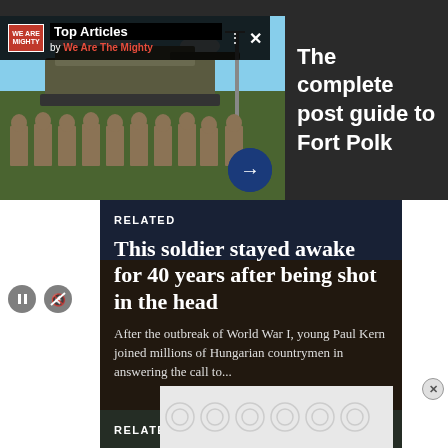[Figure (screenshot): Top Articles widget by We Are The Mighty showing video player with soldiers standing in front of military tank, with playback controls and navigation arrow]
The complete post guide to Fort Polk
RELATED
This soldier stayed awake for 40 years after being shot in the head
After the outbreak of World War I, young Paul Kern joined millions of Hungarian countrymen in answering the call to...
RELATED
BAE won the Army's $379 million